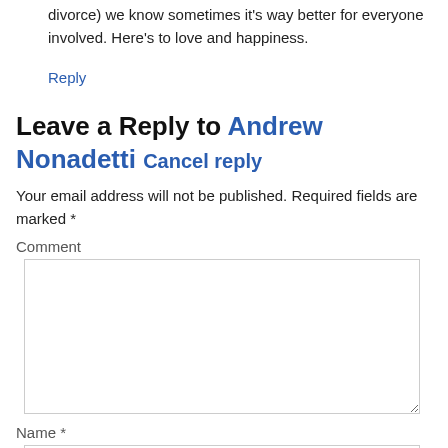divorce) we know sometimes it's way better for everyone involved. Here's to love and happiness.
Reply
Leave a Reply to Andrew Nonadetti Cancel reply
Your email address will not be published. Required fields are marked *
Comment
Name *